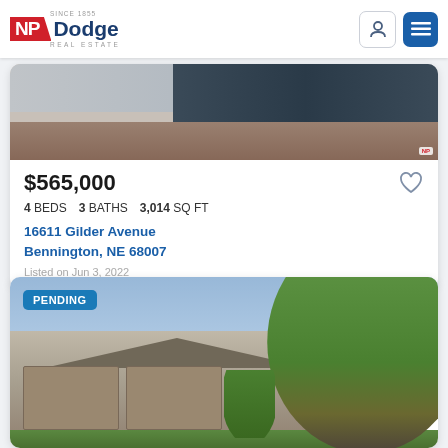NP Dodge Real Estate
$565,000
4 BEDS   3 BATHS   3,014 SQ FT
16611 Gilder Avenue
Bennington, NE 68007
Listed on Jun 3, 2022
[Figure (photo): Exterior photo of house under construction with garage and stone facade]
[Figure (photo): Exterior photo of single-story ranch home with three-car garage, stone facade, and large tree; PENDING badge overlay]